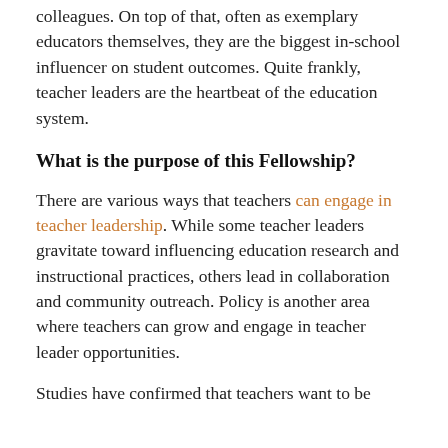colleagues. On top of that, often as exemplary educators themselves, they are the biggest in-school influencer on student outcomes. Quite frankly, teacher leaders are the heartbeat of the education system.
What is the purpose of this Fellowship?
There are various ways that teachers can engage in teacher leadership. While some teacher leaders gravitate toward influencing education research and instructional practices, others lead in collaboration and community outreach. Policy is another area where teachers can grow and engage in teacher leader opportunities.
Studies have confirmed that teachers want to be